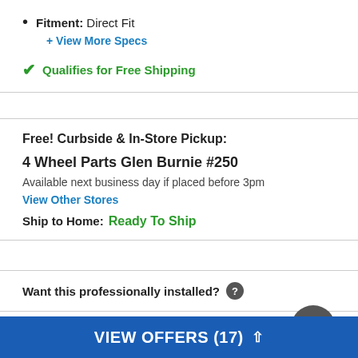Fitment: Direct Fit
+ View More Specs
✓ Qualifies for Free Shipping
Free! Curbside & In-Store Pickup:
4 Wheel Parts Glen Burnie #250
Available next business day if placed before 3pm
View Other Stores
Ship to Home:  Ready To Ship
Want this professionally installed? ?
Rack-lock Johnny Joint Cont...
VIEW OFFERS (17)